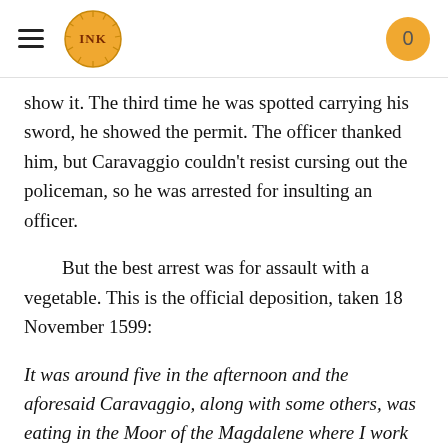INK logo with hamburger menu and cart badge (0)
show it. The third time he was spotted carrying his sword, he showed the permit. The officer thanked him, but Caravaggio couldn't resist cursing out the policeman, so he was arrested for insulting an officer.
But the best arrest was for assault with a vegetable. This is the official deposition, taken 18 November 1599:
It was around five in the afternoon and the aforesaid Caravaggio, along with some others, was eating in the Moor of the Magdalene where I work as a waiter. I brought him eight cooked artichokes, that is four in butter and four in oil and he asked me which were